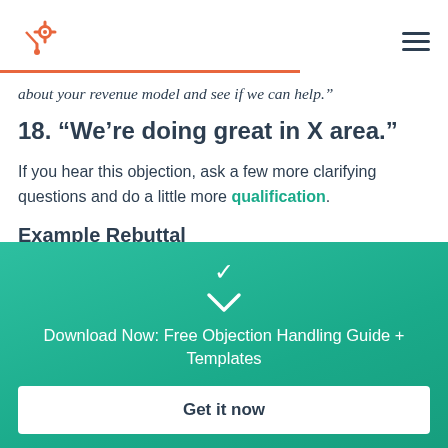HubSpot logo and navigation menu
about your revenue model and see if we can help."
18. "We're doing great in X area."
If you hear this objection, ask a few more clarifying questions and do a little more qualification.
Example Rebuttal
[Figure (infographic): Green gradient CTA banner with chevron icon, text 'Download Now: Free Objection Handling Guide + Templates', and a white 'Get it now' button]